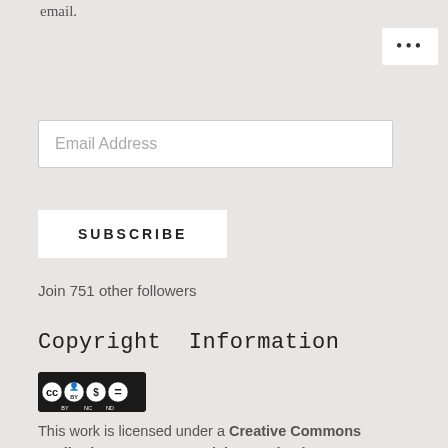email.
[Figure (screenshot): Three-dot menu icon (ellipsis) in a white rounded box in top-right corner]
Email Address
SUBSCRIBE
Join 751 other followers
Copyright Information
[Figure (logo): Creative Commons BY NC ND license badge]
This work is licensed under a Creative Commons Attribution-NonCommercial-NoDerivatives 4.0 International License.